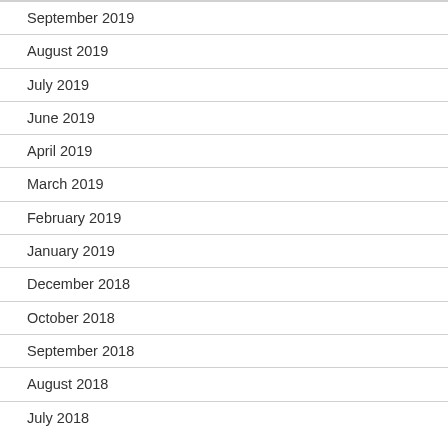September 2019
August 2019
July 2019
June 2019
April 2019
March 2019
February 2019
January 2019
December 2018
October 2018
September 2018
August 2018
July 2018